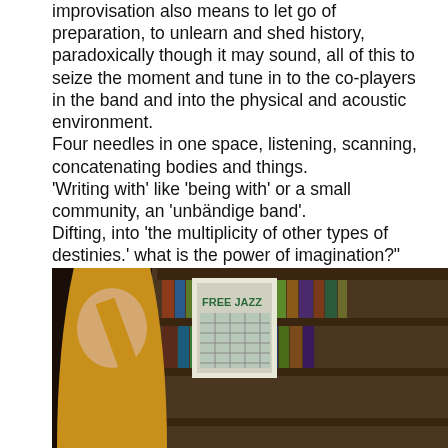improvisation also means to let go of preparation, to unlearn and shed history, paradoxically though it may sound, all of this to seize the moment and tune in to the co-players in the band and into the physical and acoustic environment.
Four needles in one space, listening, scanning, concatenating bodies and things.
'Writing with' like 'being with' or a small community, an 'unbändige band'.
Difting, into 'the multiplicity of other types of destinies.' what is the power of imagination?" (Jeroen Peeters)
[Figure (photo): Two side-by-side photos. Left: Person in red shirt with glasses sitting at a desk; another person in yellow shirt holds up a 'FREE JAZZ' record/book in a room with bookshelves. Right: A woman with light hair leaning back, in a dark patterned dress, in a room with bookshelves.]